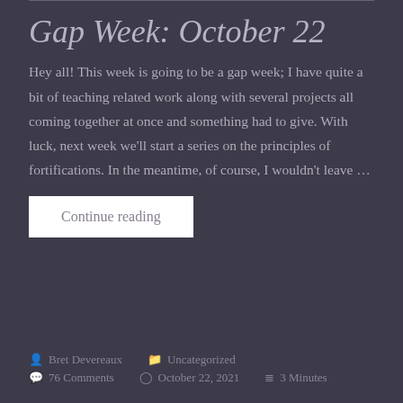Gap Week: October 22
Hey all! This week is going to be a gap week; I have quite a bit of teaching related work along with several projects all coming together at once and something had to give. With luck, next week we'll start a series on the principles of fortifications. In the meantime, of course, I wouldn't leave …
Continue reading
Bret Devereaux   Uncategorized   76 Comments   October 22, 2021   3 Minutes